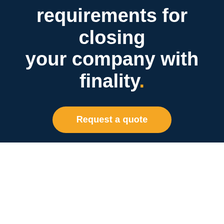requirements for closing your company with finality.
Request a quote
Non-binding & confidential